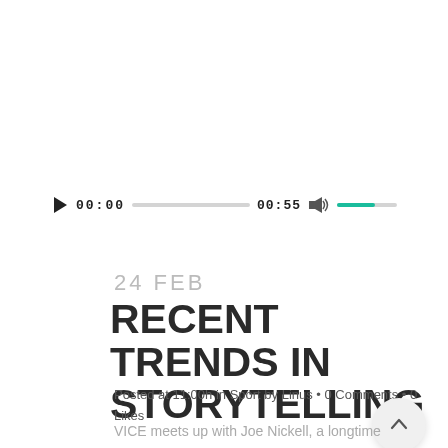[Figure (other): Audio player widget with play button, time display 00:00, progress bar, duration 00:55, volume icon and teal volume bar]
24 FEB
RECENT TRENDS IN STORYTELLING
Posted at 11:00h in Sport by Linus • 0 Comments • 0 Likes
VICE meets up with Joe Nickell, a longtime paranormal investigator who's been called the real-life